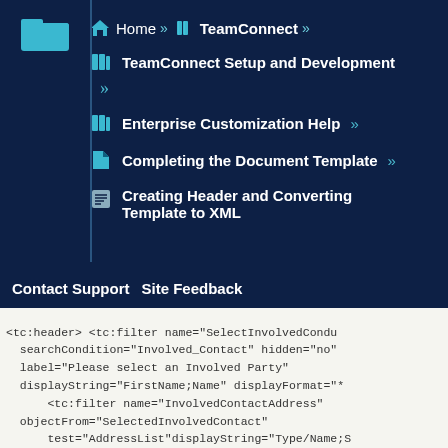Home » TeamConnect »
TeamConnect Setup and Development »
Enterprise Customization Help »
Completing the Document Template »
Creating Header and Converting Template to XML
Contact Support  Site Feedback
<tc:header> <tc:filter name="SelectInvolvedCondu searchCondition="Involved_Contact" hidden="no" label="Please select an Involved Party" displayString="FirstName;Name" displayFormat="* <tc:filter name="InvolvedContactAddress" objectFrom="SelectedInvolvedContact" test="AddressList"displayString="Type/Name;S displayFormat="* - * *" label="Please Select the Involved's Addre <tc:filter name="involvedinaccident" searchCondition="Involved" hidden="no"/